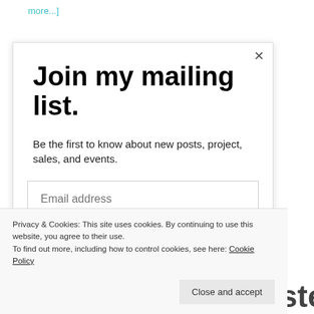more...]
Join my mailing list.
Be the first to know about new posts, project, sales, and events.
Email address
Privacy & Cookies: This site uses cookies. By continuing to use this website, you agree to their use. To find out more, including how to control cookies, see here: Cookie Policy
Close and accept
Schools As Ecosystems